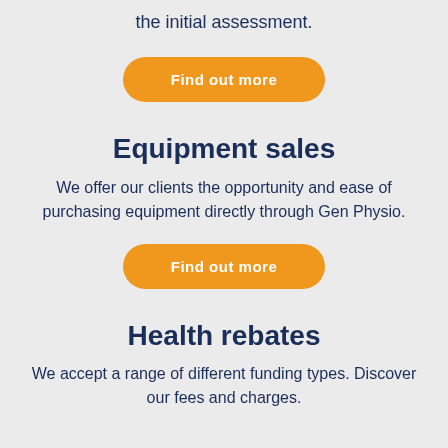the initial assessment.
Find out more
Equipment sales
We offer our clients the opportunity and ease of purchasing equipment directly through Gen Physio.
Find out more
Health rebates
We accept a range of different funding types. Discover our fees and charges.